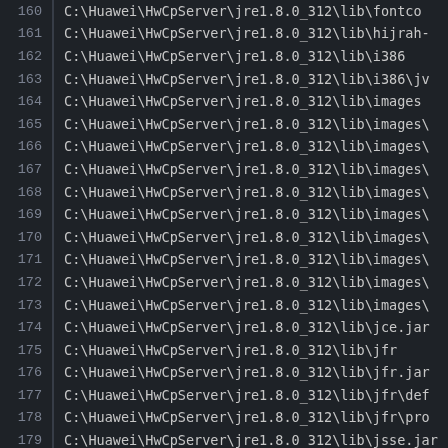160  C:\Huawei\HwCpServer\jre1.8.0_312\lib\fontco
161  C:\Huawei\HwCpServer\jre1.8.0_312\lib\hijrah-
162  C:\Huawei\HwCpServer\jre1.8.0_312\lib\i386
163  C:\Huawei\HwCpServer\jre1.8.0_312\lib\i386\jv
164  C:\Huawei\HwCpServer\jre1.8.0_312\lib\images
165  C:\Huawei\HwCpServer\jre1.8.0_312\lib\images\
166  C:\Huawei\HwCpServer\jre1.8.0_312\lib\images\
167  C:\Huawei\HwCpServer\jre1.8.0_312\lib\images\
168  C:\Huawei\HwCpServer\jre1.8.0_312\lib\images\
169  C:\Huawei\HwCpServer\jre1.8.0_312\lib\images\
170  C:\Huawei\HwCpServer\jre1.8.0_312\lib\images\
171  C:\Huawei\HwCpServer\jre1.8.0_312\lib\images\
172  C:\Huawei\HwCpServer\jre1.8.0_312\lib\images\
173  C:\Huawei\HwCpServer\jre1.8.0_312\lib\images\
174  C:\Huawei\HwCpServer\jre1.8.0_312\lib\jce.jar
175  C:\Huawei\HwCpServer\jre1.8.0_312\lib\jfr
176  C:\Huawei\HwCpServer\jre1.8.0_312\lib\jfr.jar
177  C:\Huawei\HwCpServer\jre1.8.0_312\lib\jfr\def
178  C:\Huawei\HwCpServer\jre1.8.0_312\lib\jfr\pro
179  C:\Huawei\HwCpServer\jre1.8.0_312\lib\jsse.jar